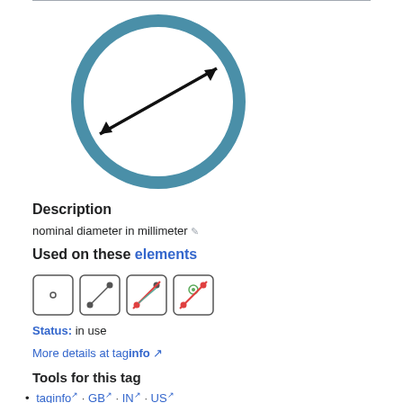[Figure (illustration): Circle with teal/steel-blue thick stroke and a double-headed arrow drawn through the diameter, indicating diameter measurement.]
Description
nominal diameter in millimeter
Used on these elements
[Figure (illustration): Four dice-like icons: node only, way (two dots connected), relation with red slash, area with red slash and green node.]
Status: in use
More details at taginfo ↗
Tools for this tag
taginfo ↗ · GB ↗ · IN ↗ · US ↗